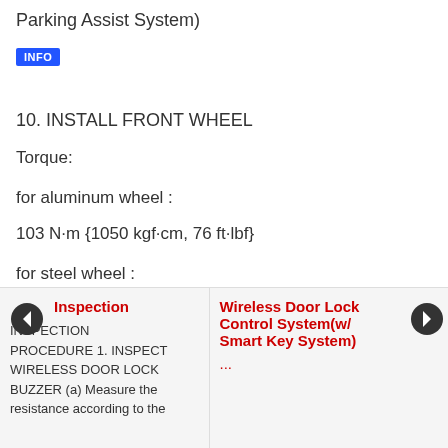Parking Assist System)
INFO
10. INSTALL FRONT WHEEL
Torque:
for aluminum wheel :
103 N·m {1050 kgf·cm, 76 ft·lbf}
for steel wheel :
112 N·m {1142 kgf·cm, 83 ft·lbf}
Inspection
INSPECTION PROCEDURE 1. INSPECT WIRELESS DOOR LOCK BUZZER (a) Measure the resistance according to the
Wireless Door Lock Control System(w/ Smart Key System)
...